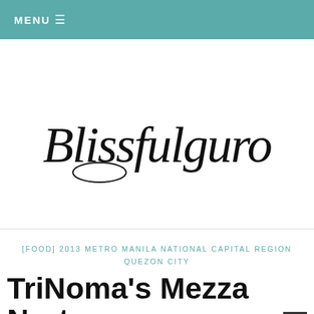MENU ≡
[Figure (logo): Blissfulguro script logo in cursive/handwritten style black text on white background]
[FOOD] 2013 METRO MANILA NATIONAL CAPITAL REGION QUEZON CITY
TriNoma's Mezza Norte